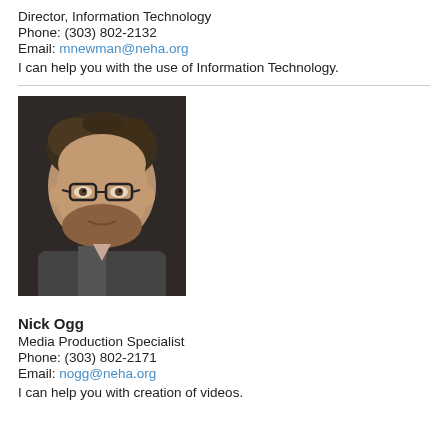Director, Information Technology
Phone: (303) 802-2132
Email: mnewman@neha.org
I can help you with the use of Information Technology.
[Figure (photo): Headshot of Nick Ogg, a man with glasses and dark hair, wearing a jacket.]
Nick Ogg
Media Production Specialist
Phone: (303) 802-2171
Email: nogg@neha.org
I can help you with creation of videos.